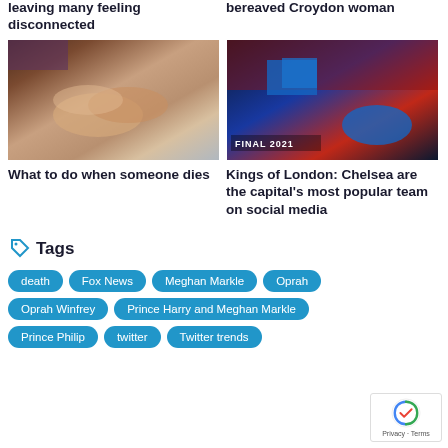leaving many feeling disconnected
bereaved Croydon woman
[Figure (photo): Close-up of elderly person's folded hands resting on a surface]
[Figure (photo): Chelsea football team celebrating at Final 2021 with blue flags and crowd in background]
What to do when someone dies
Kings of London: Chelsea are the capital's most popular team on social media
Tags
death
Fox News
Meghan Markle
Oprah
Oprah Winfrey
Prince Harry and Meghan Markle
Prince Philip
twitter
Twitter trends